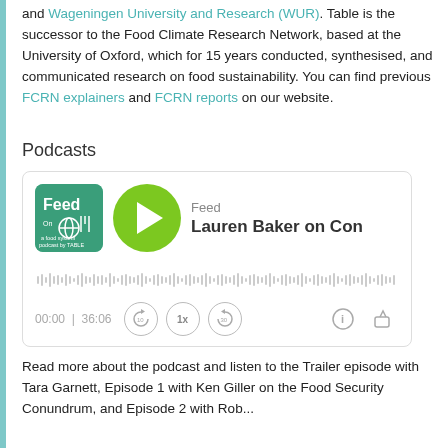and Wageningen University and Research (WUR). Table is the successor to the Food Climate Research Network, based at the University of Oxford, which for 15 years conducted, synthesised, and communicated research on food sustainability. You can find previous FCRN explainers and FCRN reports on our website.
Podcasts
[Figure (screenshot): Podcast player widget showing the 'Feed' podcast with episode 'Lauren Baker on Con...' — green circular play button, teal album art with 'Feed On a food system podcast by TABLE', waveform progress bar, and controls showing 00:00 | 36:06, rewind 10, 1x speed, forward 30, info, and share buttons.]
Read more about the podcast and listen to the Trailer episode with Tara Garnett, Episode 1 with Ken Giller on the Food Security Conundrum, and Episode 2 with Rob...